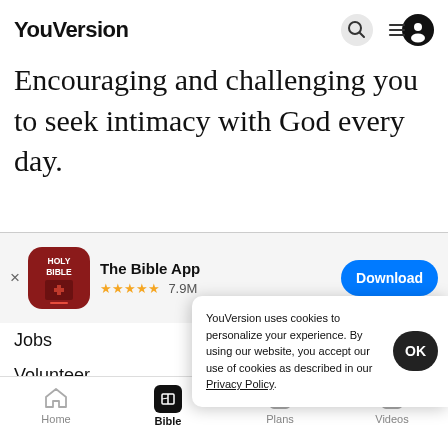YouVersion
Encouraging and challenging you to seek intimacy with God every day.
[Figure (screenshot): App store banner for The Bible App with icon, 4.5 star rating (7.9M), and Download button]
Jobs
Volunteer
YouVersion uses cookies to personalize your experience. By using our website, you accept our use of cookies as described in our Privacy Policy.
[Figure (screenshot): Bottom navigation bar with Home, Bible (active), Plans, Videos]